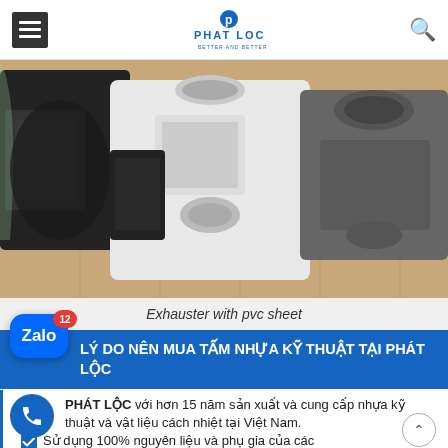Phat Loc — navigation header with hamburger menu and search icon
[Figure (photo): Industrial exhauster/centrifugal fan units made with white PVC sheet, multiple units visible on a tiled floor]
Exhauster with pvc sheet
LÝ DO NÊN MUA TẤM NHỰA KỸ THUẬT TẠI PHÁT LỘC
PHÁT LỘC với hơn 15 năm sản xuất và cung cấp nhựa kỹ thuật và vật liệu cách nhiệt tại Việt Nam.
Sử dụng 100% nguyên liệu và phụ gia của các